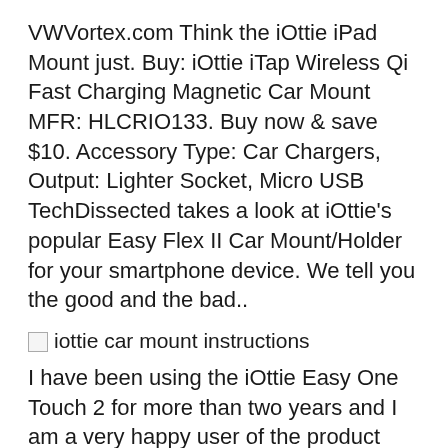VWVortex.com Think the iOttie iPad Mount just. Buy: iOttie iTap Wireless Qi Fast Charging Magnetic Car Mount MFR: HLCRIO133. Buy now & save $10. Accessory Type: Car Chargers, Output: Lighter Socket, Micro USB TechDissected takes a look at iOttie's popular Easy Flex II Car Mount/Holder for your smartphone device. We tell you the good and the bad..
[Figure (photo): Broken image placeholder with alt text 'iottie car mount instructions']
I have been using the iOttie Easy One Touch 2 for more than two years and I am a very happy user of the product because it just works. The mount is stable and is able Buy iOttie Easy One Touch 3 Holder and Car Mount Apple iPhones iOttie E...